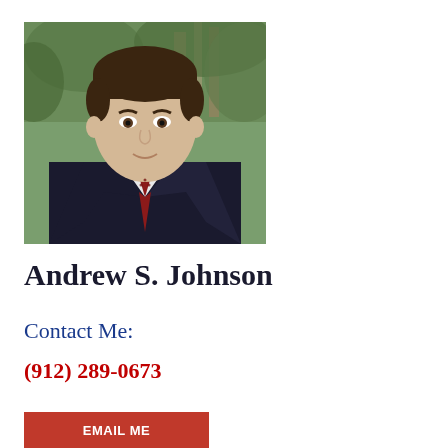[Figure (photo): Professional headshot of Andrew S. Johnson, a young man in a dark suit with a red tie, photographed outdoors with green foliage in the background.]
Andrew S. Johnson
Contact Me:
(912) 289-0673
EMAIL ME